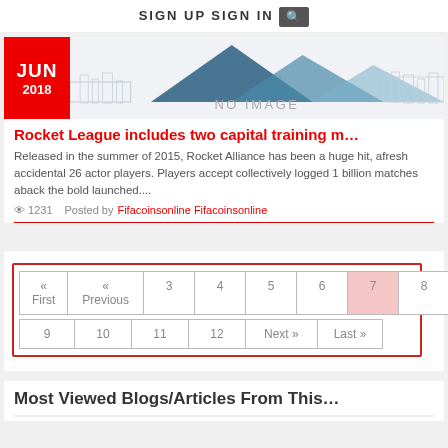SIGN UP   SIGN IN  🔍
[Figure (illustration): Article card with red date box showing JUN 2018 and a placeholder 'NO IMAGE' area with mountain silhouette graphic]
Rocket League includes two capital training m…
Released in the summer of 2015, Rocket Alliance has been a huge hit, afresh accidental 26 actor players. Players accept collectively logged 1 billion matches aback the bold launched....
👁 1231   Posted by Fifacoinsonline Fifacoinsonline
| « First | « Previous | 3 | 4 | 5 | 6 | 7 | 8 |
| 9 | 10 | 11 | 12 | Next » | Last » |
Most Viewed Blogs/Articles From This…